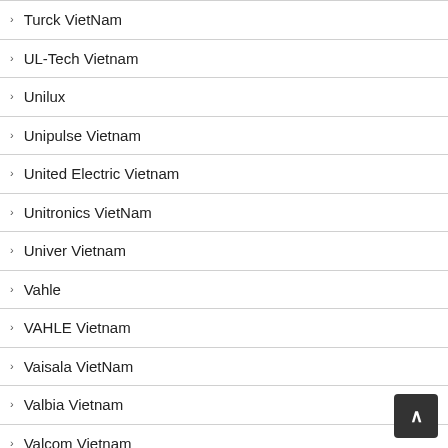Turck VietNam
UL-Tech Vietnam
Unilux
Unipulse Vietnam
United Electric Vietnam
Unitronics VietNam
Univer Vietnam
Vahle
VAHLE Vietnam
Vaisala VietNam
Valbia Vietnam
Valcom Vietnam
Vecow Vietnam
VEGA Vietnam
Vibro Laser VietNam